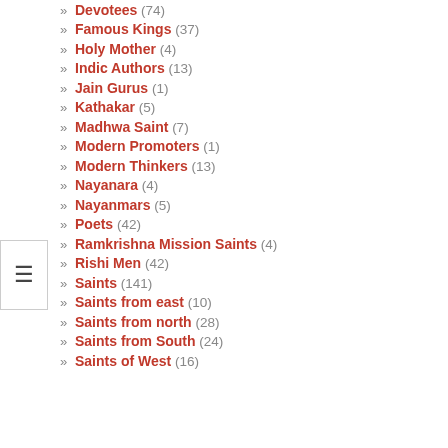» Devotees (74)
» Famous Kings (37)
» Holy Mother (4)
» Indic Authors (13)
» Jain Gurus (1)
» Kathakar (5)
» Madhwa Saint (7)
» Modern Promoters (1)
» Modern Thinkers (13)
» Nayanara (4)
» Nayanmars (5)
» Poets (42)
» Ramkrishna Mission Saints (4)
» Rishi Men (42)
» Saints (141)
» Saints from east (10)
» Saints from north (28)
» Saints from South (24)
» Saints of West (16)